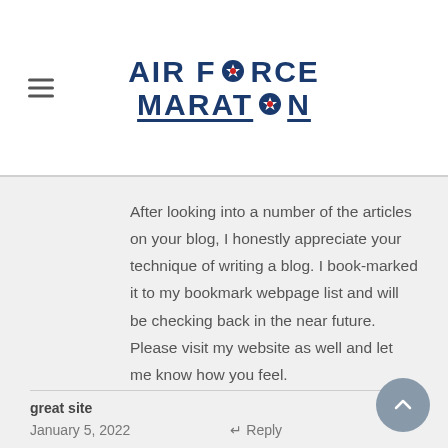[Figure (logo): Air Force Marathon logo with hamburger menu icon on left. Logo shows 'AIR FORCE MARATHON' in bold dark blue text with star icons replacing the 'O' letters.]
After looking into a number of the articles on your blog, I honestly appreciate your technique of writing a blog. I book-marked it to my bookmark webpage list and will be checking back in the near future. Please visit my website as well and let me know how you feel.
great site
January 5, 2022   ↩ Reply